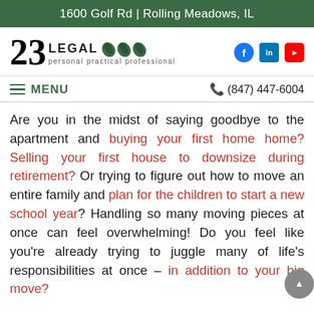1600 Golf Rd | Rolling Meadows, IL
[Figure (logo): 23 LEGAL logo with leaf icons and tagline 'personal practical professional', plus Facebook, LinkedIn, and YouTube social icons]
MENU ≡    📞 (847) 447-6004
Are you in the midst of saying goodbye to the apartment and buying your first home home? Selling your first house to downsize during retirement? Or trying to figure out how to move an entire family and plan for the children to start a new school year? Handling so many moving pieces at once can feel overwhelming! Do you feel like you're already trying to juggle many of life's responsibilities at once – in addition to your big move?